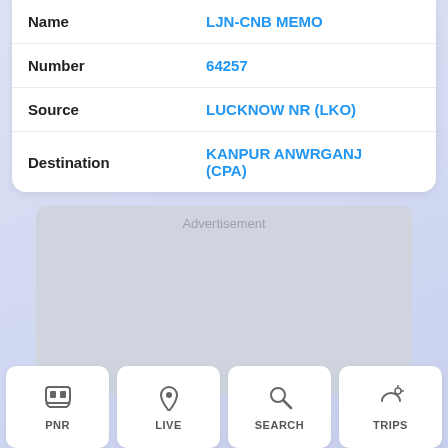| Name | LJN-CNB MEMO |
| --- | --- |
| Number | 64257 |
| Source | LUCKNOW NR (LKO) |
| Destination | KANPUR ANWRGANJ (CPA) |
[Figure (screenshot): Advertisement placeholder area]
PNR  LIVE  SEARCH  TRIPS